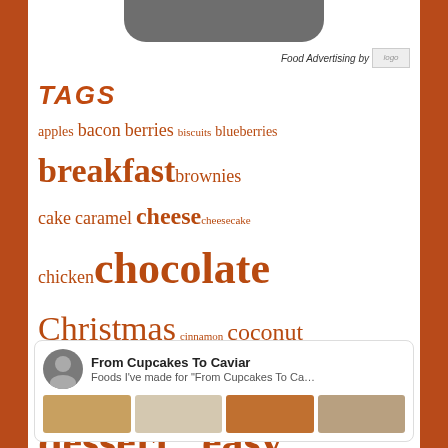Food Advertising by logo
TAGS
apples bacon berries biscuits blueberries breakfast brownies cake caramel cheese cheesecake chicken chocolate Christmas cinnamon coconut cookies cranberry creamy dessert dinner easy ham holidays lemon lime maple muffins onions orange pasta peaches pie pork pound cake pumpkin quick bread quick breads raspberries raspberry scones side dish spicy Thanksgiving white chocolate
From Cupcakes To Caviar
Foods I've made for "From Cupcakes To Ca…